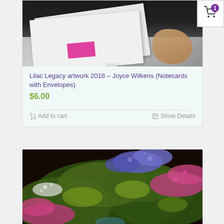[Figure (photo): Photo of art notecards being drawn/signed, with white cards, a dark background, a pink envelope, and a hand holding a pen. Shopping cart badge with number 1 in top right corner.]
Lilac Legacy artwork 2018 – Joyce Wilkens (Notecards with Envelopes)
$6.00
Add to cart
Show Details
[Figure (photo): Painting of lilac flowers with green leaves, featuring pink, purple, and white blossoms against a dark background.]